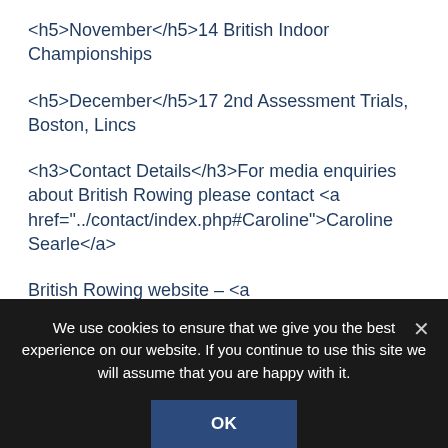<h5>November</h5>14 British Indoor Championships
<h5>December</h5>17 2nd Assessment Trials, Boston, Lincs
<h3>Contact Details</h3>For media enquiries about British Rowing please contact <a href="../contact/index.php#Caroline">Caroline Searle</a>
British Rowing website – <a href="...
We use cookies to ensure that we give you the best experience on our website. If you continue to use this site we will assume that you are happy with it.
OK